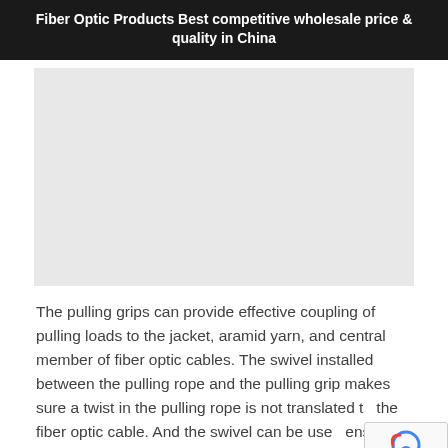Fiber Optic Products Best competitive wholesale price & quality in China
[Figure (photo): Large image placeholder (light gray rectangle) showing a fiber optic product photo area]
The pulling grips can provide effective coupling of pulling loads to the jacket, aramid yarn, and central member of fiber optic cables. The swivel installed between the pulling rope and the pulling grip makes sure a twist in the pulling rope is not translated to the fiber optic cable. And the swivel can be used ensure that the maximum tension of the cable is not